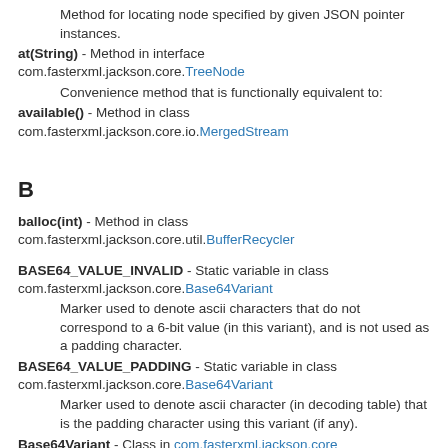Method for locating node specified by given JSON pointer instances.
at(String) - Method in interface com.fasterxml.jackson.core.TreeNode
Convenience method that is functionally equivalent to:
available() - Method in class com.fasterxml.jackson.core.io.MergedStream
B
balloc(int) - Method in class com.fasterxml.jackson.core.util.BufferRecycler
BASE64_VALUE_INVALID - Static variable in class com.fasterxml.jackson.core.Base64Variant
Marker used to denote ascii characters that do not correspond to a 6-bit value (in this variant), and is not used as a padding character.
BASE64_VALUE_PADDING - Static variable in class com.fasterxml.jackson.core.Base64Variant
Marker used to denote ascii character (in decoding table) that is the padding character using this variant (if any).
Base64Variant - Class in com.fasterxml.jackson.core
Class used to define specific details of which